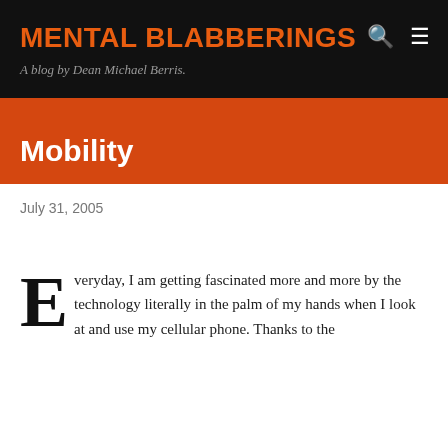MENTAL BLABBERINGS
A blog by Dean Michael Berris.
Mobility
July 31, 2005
Everyday, I am getting fascinated more and more by the technology literally in the palm of my hands when I look at and use my cellular phone. Thanks to the